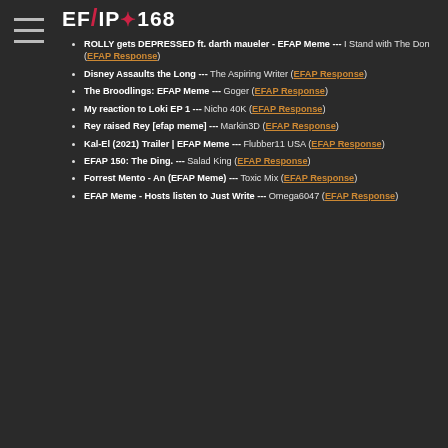EFAP #168
ROLLY gets DEPRESSED ft. darth maueler - EFAP Meme ---  I Stand with The Don (EFAP Response)
Disney Assaults the Long ---  The Aspiring Writer (EFAP Response)
The Broodlings: EFAP Meme --- Goger (EFAP Response)
My reaction to Loki EP 1 --- Nicho 40K (EFAP Response)
Rey raised Rey [efap meme] --- Markin3D (EFAP Response)
Kal-El (2021) Trailer | EFAP Meme --- Flubber11 USA (EFAP Response)
EFAP 150: The Ding. --- Salad King (EFAP Response)
Forrest Mento - An (EFAP Meme) --- Toxic Mix (EFAP Response)
EFAP Meme - Hosts listen to Just Write --- Omega6047 (EFAP Response)